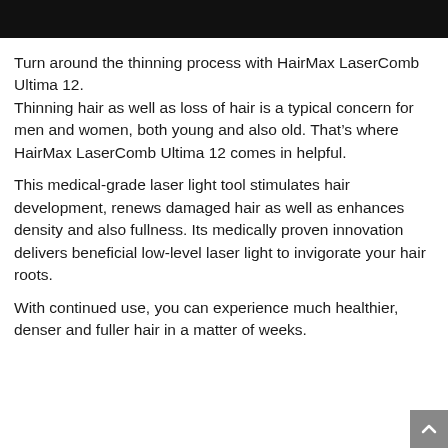Turn around the thinning process with HairMax LaserComb Ultima 12.
Thinning hair as well as loss of hair is a typical concern for men and women, both young and also old. That’s where HairMax LaserComb Ultima 12 comes in helpful.
This medical-grade laser light tool stimulates hair development, renews damaged hair as well as enhances density and also fullness. Its medically proven innovation delivers beneficial low-level laser light to invigorate your hair roots.
With continued use, you can experience much healthier, denser and fuller hair in a matter of weeks.